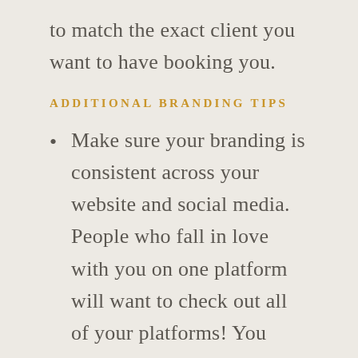to match the exact client you want to have booking you.
ADDITIONAL BRANDING TIPS
Make sure your branding is consistent across your website and social media. People who fall in love with you on one platform will want to check out all of your platforms! You want to make sure they have no doubt in their